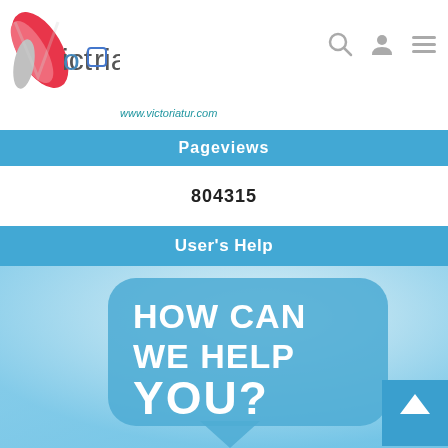[Figure (logo): Victoriatur logo with red/pink feather and stylized text, www.victoriatur.com URL below]
Pageviews
804315
User's Help
[Figure (illustration): Light blue gradient background with a speech bubble reading HOW CAN WE HELP YOU? in bold white text]